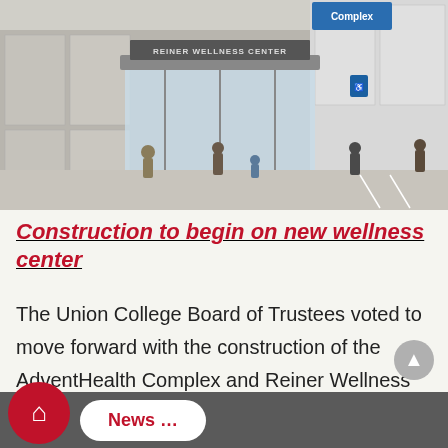[Figure (illustration): Architectural rendering of the Reiner Wellness Center building entrance. A modern building facade with glass doors, signage reading 'REINER WELLNESS CENTER', and several people walking outside. A partial sign reading 'Complex' is visible in the upper right.]
Construction to begin on new wellness center
The Union College Board of Trustees voted to move forward with the construction of the AdventHealth Complex and Reiner Wellness Center this week. Some parts of the project will begin this summer and the building...
News ...